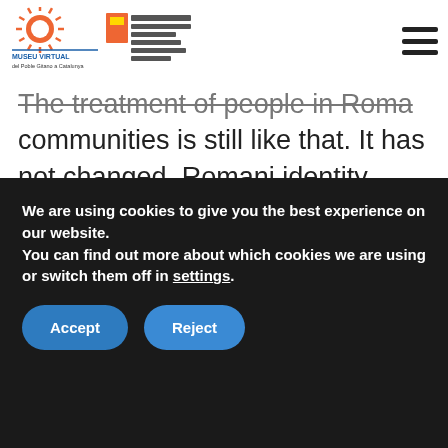Museu Virtual del Poble Gitano a Catalunya | Generalitat de Catalunya
The treatment of people in Roma communities is still like that. It has not changed. Romani identity continues to be dealt with under these terms in Spain and in the rest of Europe. Have any measures been taken by Spain or the European Commission to reaffirm the identity of Roma? None at all. All measures have been preventative in nature, especially with regards to what
We are using cookies to give you the best experience on our website.
You can find out more about which cookies we are using or switch them off in settings.
Accept
Reject